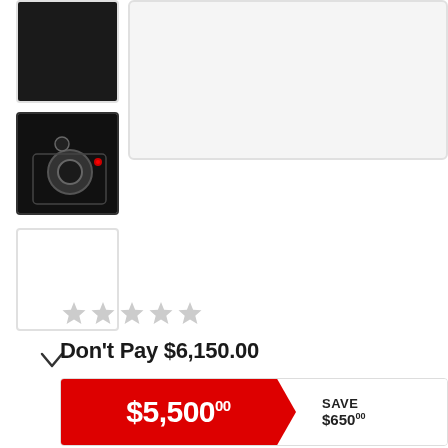[Figure (photo): Product thumbnail showing camera/device top view, dark colored]
[Figure (photo): Product thumbnail showing device controls close-up, selected state with dark border]
[Figure (photo): Empty/blank product thumbnail placeholder]
[Figure (photo): Main large product image, light grey placeholder]
v (chevron down)
[Figure (other): 5 grey stars rating (0 filled)]
Don't Pay $6,150.00
$5,500.00   SAVE $650.00